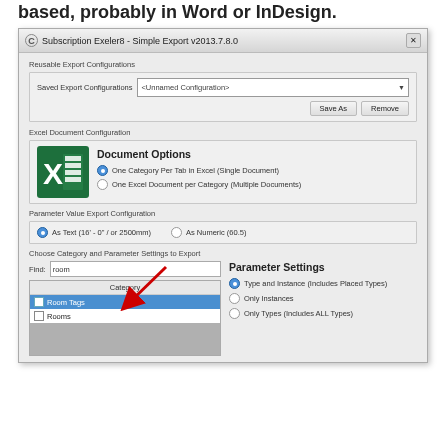based, probably in Word or InDesign.
[Figure (screenshot): Screenshot of 'Subscription Exeler8 - Simple Export v2013.7.8.0' dialog box showing Reusable Export Configurations with Saved Export Configurations dropdown set to '<Unnamed Configuration>', Save As and Remove buttons, Excel Document Configuration section with Excel icon and Document Options (One Category Per Tab in Excel selected, One Excel Document per Category option), Parameter Value Export Configuration section (As Text selected, As Numeric option), and Choose Category and Parameter Settings to Export section with Find field showing 'room', Category list showing Room Tags (highlighted blue) and Rooms, and Parameter Settings panel on the right showing radio options: Type and Instance (Includes Placed Types), Only Instances, Only Types (Includes ALL Types). A red arrow points to the Find field.]